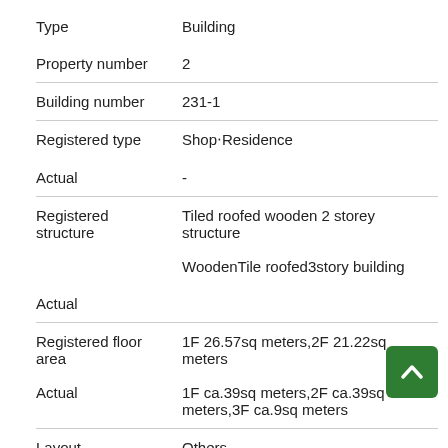| Field | Value |
| --- | --- |
| Type | Building |
| Property number | 2 |
| Building number | 231-1 |
| Registered type | Shop‧Residence |
| Actual | - |
| Registered structure | Tiled roofed wooden 2 storey structure |
|  | WoodenTile roofed3story building |
| Actual |  |
| Registered floor area | 1F 26.57sq meters,2F 21.22sq meters |
|  | 1F ca.39sq meters,2F ca.39sq meters,3F ca.9sq meters |
| Actual |  |
| Layout | Others |
| Land right | Ownership |